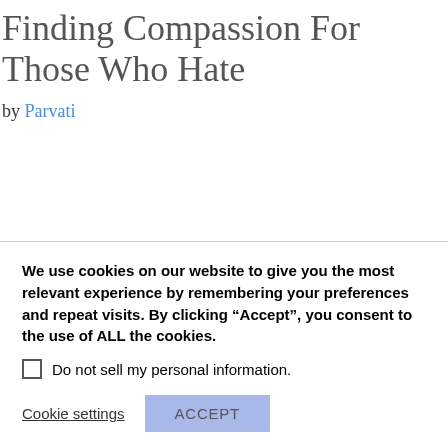Finding Compassion For Those Who Hate
by Parvati
When you put yourself out there, share your heart and voice with the world, there will inevitably be those who love you, those who hate you and those who just don't care. Being on the spiritual path, I find this to be an excellent teacher and a perfect ego grinder, because
We use cookies on our website to give you the most relevant experience by remembering your preferences and repeat visits. By clicking “Accept”, you consent to the use of ALL the cookies.
□ Do not sell my personal information.
Cookie settings  ACCEPT